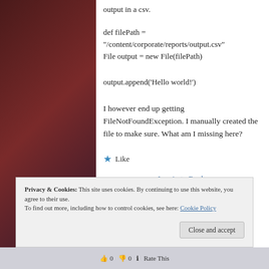output in a csv.
def filePath =
"/content/corporate/reports/output.csv"
File output = new File(filePath)
output.append('Hello world!')
I however end up getting FileNotFoundException. I manually created the file to make sure. What am I missing here?
Like
Log in to Reply
Privacy & Cookies: This site uses cookies. By continuing to use this website, you agree to their use.
To find out more, including how to control cookies, see here: Cookie Policy
Close and accept
👍 0 👎 0 ℹ Rate This